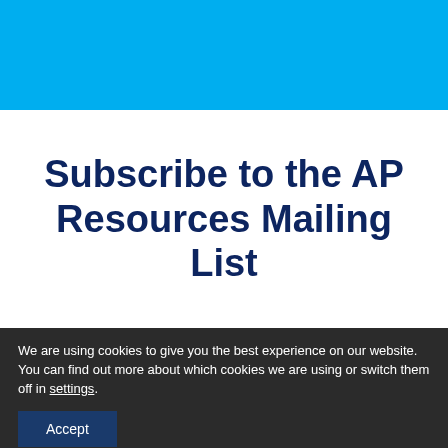[Figure (other): Solid bright blue header bar at top of page]
Subscribe to the AP Resources Mailing List
We are using cookies to give you the best experience on our website.
You can find out more about which cookies we are using or switch them off in settings.
Accept